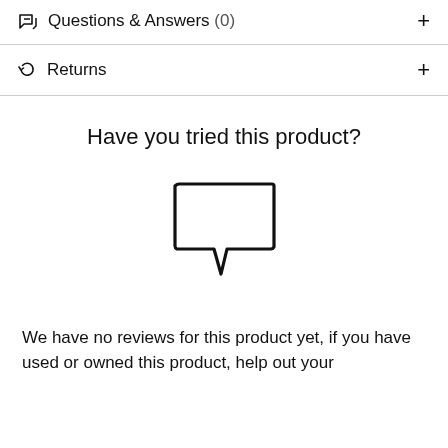Questions & Answers (0)
Returns
Have you tried this product?
[Figure (illustration): Speech bubble / comment icon outline]
We have no reviews for this product yet, if you have used or owned this product, help out your